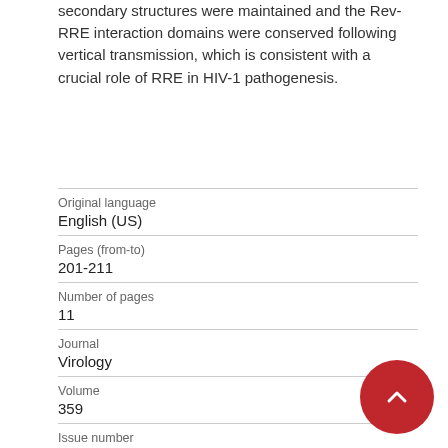secondary structures were maintained and the Rev-RRE interaction domains were conserved following vertical transmission, which is consistent with a crucial role of RRE in HIV-1 pathogenesis.
| Field | Value |
| --- | --- |
| Original language | English (US) |
| Pages (from-to) | 201-211 |
| Number of pages | 11 |
| Journal | Virology |
| Volume | 359 |
| Issue number | 1 |